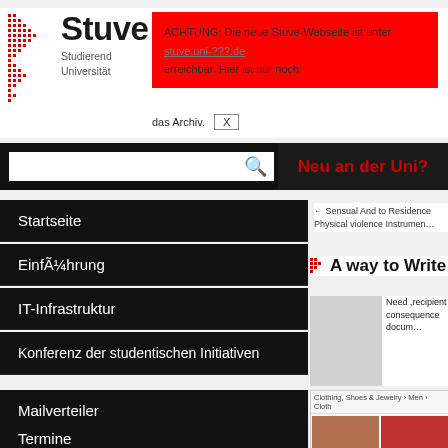[Figure (logo): Stuve logo with red dot grid pattern and text 'Stuve Studierendenvertretung Universität']
ACHTUNG: Die neue Stuve-Webseite ist unter [link] erreichbar. Hier ist nur noch das Archiv. X
[Figure (screenshot): Search bar with magnifying glass icon on black background, and 'Neu an der Uni?' button in dark red]
Startseite
EinfÃ¼hrung
IT-Infrastruktur
Konferenz der studentischen Initiativen
Mailverteiler
Termine
Studierendenvertretung
Referate & Arbeitskreise
← Sensual And to Residence Physical violence Instrument
A way to Write
Need ,recipient consequence document
[Figure (screenshot): Amazon clothing page screenshot showing 'Clothing, Shoes & Jewelry > Men > Clothing' breadcrumb and two clothing item images]